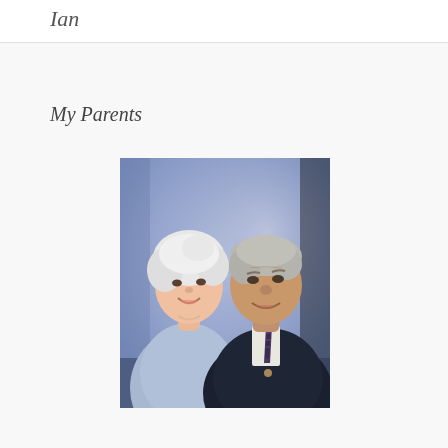Ian
My Parents
[Figure (photo): Portrait photograph of an elderly couple. On the left, a woman with short white hair wearing a light blue top, smiling. On the right, a man with grey hair wearing a dark suit jacket, white shirt, and patterned tie, smiling. The background is a soft blurred blue-purple studio backdrop.]